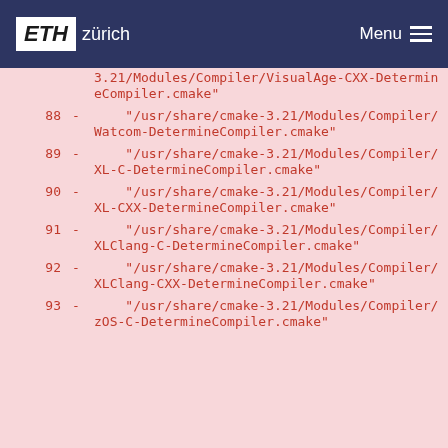ETH zürich  Menu
3.21/Modules/Compiler/VisualAge-CXX-DetermineCompiler.cmake"
88 - "/usr/share/cmake-3.21/Modules/Compiler/Watcom-DetermineCompiler.cmake"
89 - "/usr/share/cmake-3.21/Modules/Compiler/XL-C-DetermineCompiler.cmake"
90 - "/usr/share/cmake-3.21/Modules/Compiler/XL-CXX-DetermineCompiler.cmake"
91 - "/usr/share/cmake-3.21/Modules/Compiler/XLClang-C-DetermineCompiler.cmake"
92 - "/usr/share/cmake-3.21/Modules/Compiler/XLClang-CXX-DetermineCompiler.cmake"
93 - "/usr/share/cmake-3.21/Modules/Compiler/zOS-C-DetermineCompiler.cmake"